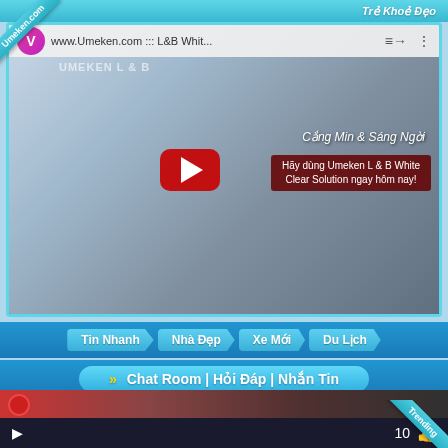Trẻ Khoẻ Đẹo
[Figure (screenshot): YouTube video thumbnail for www.Umeken.com L&B White Clear Solution with a Korean woman holding skincare product. Red play button visible. Vietnamese text: Cắng Min & Sáng Ngời, Hãy dùng Umeken L & B White Clear Solution ngay hôm nay!]
Tin Nhanh
Nhà Đẹp
Xe Mới
Du Lịch
» Chat Room | Hỏi Đáp | Nhắn Tin
Tôn Giáo - Religion
Thể Thao | Sports Live
Trending
[Figure (screenshot): Partial video strip at bottom of page showing colorful video thumbnails]
▶  10 👍